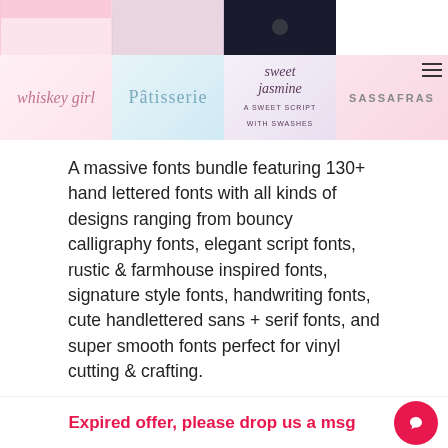[Figure (illustration): Banner collage of font showcase images arranged in a 4-column grid. Shows script/cursive fonts including 'whiskey girl', 'Patisserie', 'sweet jasmine', and 'SASSAFRAS' on various colored backgrounds. Hamburger menu icon visible in top right.]
A massive fonts bundle featuring 130+ hand lettered fonts with all kinds of designs ranging from bouncy calligraphy fonts, elegant script fonts, rustic & farmhouse inspired fonts, signature style fonts, handwriting fonts, cute handlettered sans + serif fonts, and super smooth fonts perfect for vinyl cutting & crafting.
The bundle delivers fonts in OTF & TTF file formats and also includes web font files in EOT, WOFF & WOFF2 - the best part is that the bundle includes access to future font releases totally for free!
Expired offer, please drop us a msg